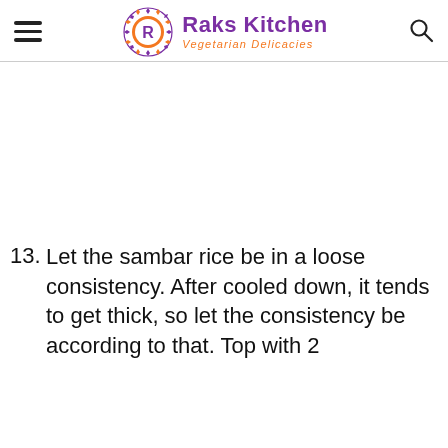Raks Kitchen – Vegetarian Delicacies
13. Let the sambar rice be in a loose consistency. After cooled down, it tends to get thick, so let the consistency be according to that. Top with 2